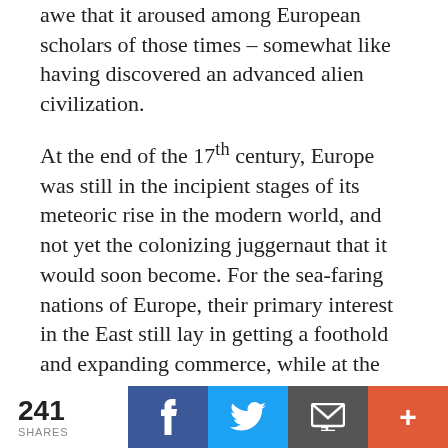awe that it aroused among European scholars of those times – somewhat like having discovered an advanced alien civilization.
At the end of the 17th century, Europe was still in the incipient stages of its meteoric rise in the modern world, and not yet the colonizing juggernaut that it would soon become. For the sea-faring nations of Europe, their primary interest in the East still lay in getting a foothold and expanding commerce, while at the same time disrupting the trade of their enemies.
241 SHARES